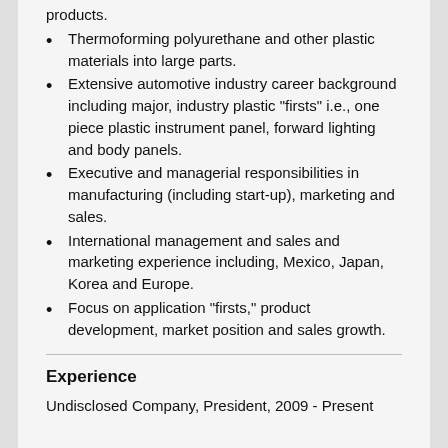products.
Thermoforming polyurethane and other plastic materials into large parts.
Extensive automotive industry career background including major, industry plastic "firsts" i.e., one piece plastic instrument panel, forward lighting and body panels.
Executive and managerial responsibilities in manufacturing (including start-up), marketing and sales.
International management and sales and marketing experience including, Mexico, Japan, Korea and Europe.
Focus on application "firsts," product development, market position and sales growth.
Experience
Undisclosed Company, President, 2009 - Present